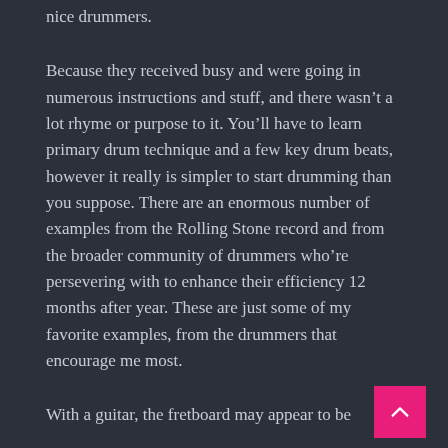nice drummers.
Because they received busy and were going in numerous instructions and stuff, and there wasn’t a lot rhyme or purpose to it. You’ll have to learn primary drum technique and a few key drum beats, however it really is simpler to start drumming than you suppose. There are an enormous number of examples from the Rolling Stone record and from the broader community of drummers who’re persevering with to enhance their efficiency 12 months after year. These are just some of my favorite examples, from the drummers that encourage me most.
With a guitar, the fretboard may appear to be